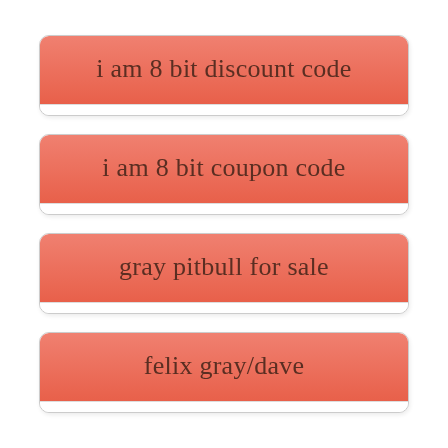i am 8 bit discount code
i am 8 bit coupon code
gray pitbull for sale
felix gray/dave